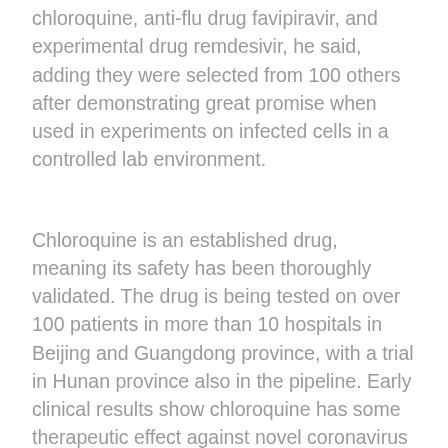chloroquine, anti-flu drug favipiravir, and experimental drug remdesivir, he said, adding they were selected from 100 others after demonstrating great promise when used in experiments on infected cells in a controlled lab environment.
Chloroquine is an established drug, meaning its safety has been thoroughly validated. The drug is being tested on over 100 patients in more than 10 hospitals in Beijing and Guangdong province, with a trial in Hunan province also in the pipeline. Early clinical results show chloroquine has some therapeutic effect against novel coronavirus pneumonia, Zhang said.